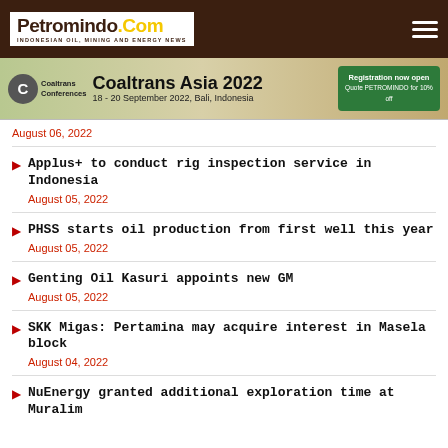[Figure (logo): Petromindo.Com logo with yellow .Com and tagline INDONESIAN OIL, MINING AND ENERGY NEWS]
[Figure (infographic): Coaltrans Asia 2022 advertisement banner: 18-20 September 2022, Bali, Indonesia. Registration now open. Quote PETROMINDO for 10% off.]
August 06, 2022
Applus+ to conduct rig inspection service in Indonesia
August 05, 2022
PHSS starts oil production from first well this year
August 05, 2022
Genting Oil Kasuri appoints new GM
August 05, 2022
SKK Migas: Pertamina may acquire interest in Masela block
August 04, 2022
NuEnergy granted additional exploration time at Muralim